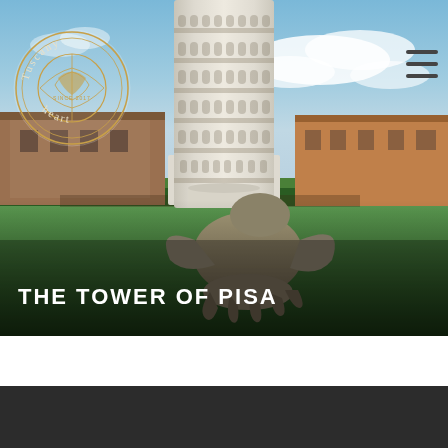[Figure (photo): Photograph of the Leaning Tower of Pisa with a large bronze eagle/griffin sculpture in the foreground on green grass. Historic buildings visible in the background under a partly cloudy blue sky. A 'Tuscany Heart' logo with circular text appears in the upper left, and a hamburger menu icon appears in the upper right.]
THE TOWER OF PISA